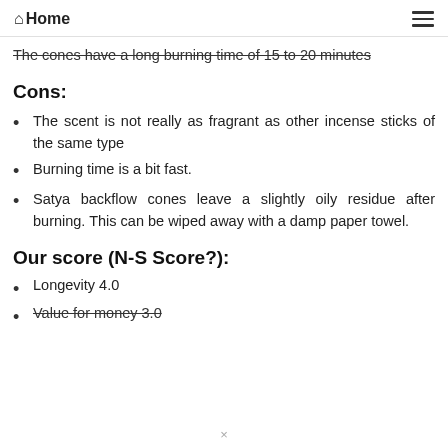Home
The cones have a long burning time of 15 to 20 minutes
Cons:
The scent is not really as fragrant as other incense sticks of the same type
Burning time is a bit fast.
Satya backflow cones leave a slightly oily residue after burning. This can be wiped away with a damp paper towel.
Our score (N-S Score?):
Longevity  4.0
Value for money  3.0